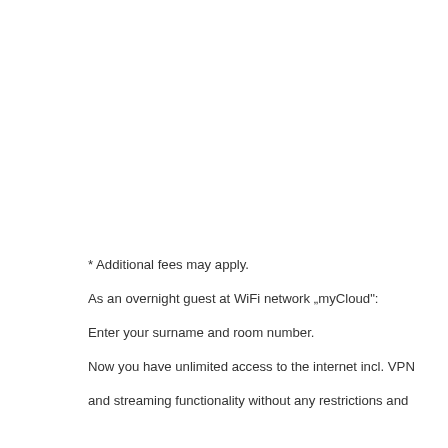* Additional fees may apply.
As an overnight guest at WiFi network „myCloud":
Enter your surname and room number.
Now you have unlimited access to the internet incl. VPN
and streaming functionality without any restrictions and
THIS WEBSITE USES COOKIES
Show details ∨
[Figure (screenshot): Cookie consent bar with checkboxes for Necessary (checked), Preferences, Statistics, Marketing, and a Show details dropdown on the right]
[Figure (screenshot): Two buttons: 'Confirm Selection' (outlined) and 'Select All' (green filled)]